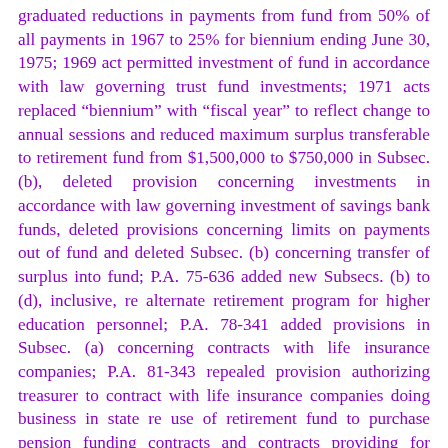graduated reductions in payments from fund from 50% of all payments in 1967 to 25% for biennium ending June 30, 1975; 1969 act permitted investment of fund in accordance with law governing trust fund investments; 1971 acts replaced "biennium" with "fiscal year" to reflect change to annual sessions and reduced maximum surplus transferable to retirement fund from $1,500,000 to $750,000 in Subsec. (b), deleted provision concerning investments in accordance with law governing investment of savings bank funds, deleted provisions concerning limits on payments out of fund and deleted Subsec. (b) concerning transfer of surplus into fund; P.A. 75-636 added new Subsecs. (b) to (d), inclusive, re alternate retirement program for higher education personnel; P.A. 78-341 added provisions in Subsec. (a) concerning contracts with life insurance companies; P.A. 81-343 repealed provision authorizing treasurer to contract with life insurance companies doing business in state re use of retirement fund to purchase pension funding contracts and contracts providing for participation in separate accounts or under which funds become part of company's general account; P.A. 83-533 added Subsec. (e) allowing refund of contributions to participants in alternate retirement programs; P.A. 84-544 amended section to refer to more than one alternate retirement program; June Sp. Sess. P.A.